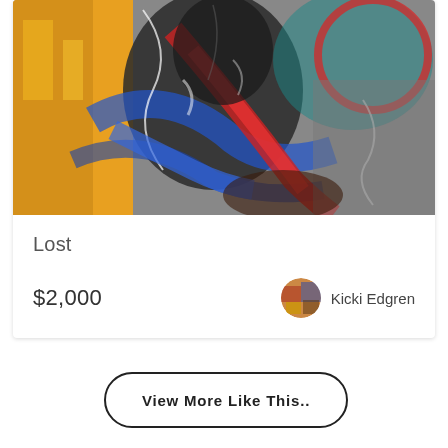[Figure (photo): Abstract painting titled 'Lost' showing swirling brushstrokes in blue, red, yellow, black, and white. Highly expressive with dynamic motion suggesting a figure amid chaotic color fields.]
Lost
$2,000
Kicki Edgren
View More Like This..